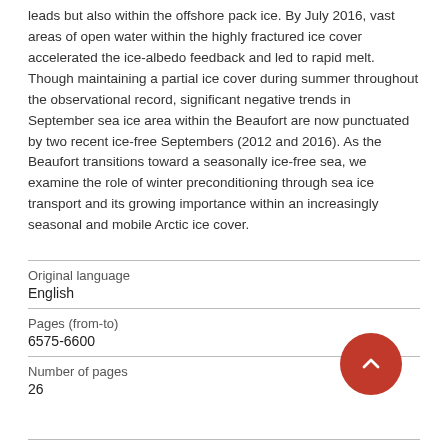leads but also within the offshore pack ice. By July 2016, vast areas of open water within the highly fractured ice cover accelerated the ice-albedo feedback and led to rapid melt. Though maintaining a partial ice cover during summer throughout the observational record, significant negative trends in September sea ice area within the Beaufort are now punctuated by two recent ice-free Septembers (2012 and 2016). As the Beaufort transitions toward a seasonally ice-free sea, we examine the role of winter preconditioning through sea ice transport and its growing importance within an increasingly seasonal and mobile Arctic ice cover.
| Original language |  |
| English |  |
| Pages (from-to) |  |
| 6575-6600 |  |
| Number of pages |  |
| 26 |  |
| Journal |  |